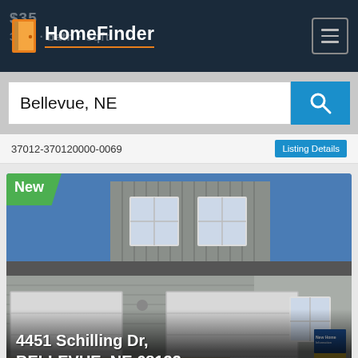HomeFinder
Bellevue, NE
37012-370120000-0069
[Figure (photo): Exterior photo of a two-story residential home with gray siding, two-car garage, and a 'New' badge in the upper left corner. A for-sale sign is visible on the right side.]
4451 Schilling Dr, BELLEVUE, NE 68133